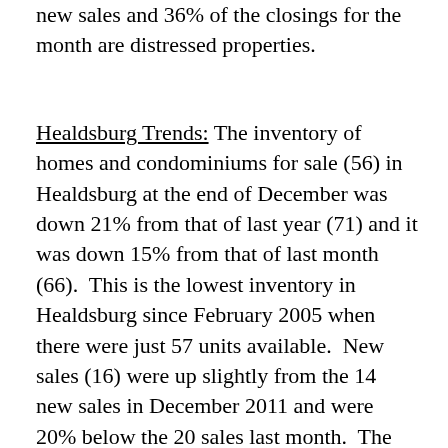new sales and 36% of the closings for the month are distressed properties.
Healdsburg Trends: The inventory of homes and condominiums for sale (56) in Healdsburg at the end of December was down 21% from that of last year (71) and it was down 15% from that of last month (66).  This is the lowest inventory in Healdsburg since February 2005 when there were just 57 units available.  New sales (16) were up slightly from the 14 new sales in December 2011 and were 20% below the 20 sales last month.  The months of available inventory based on the current sales pace is 3.5 months.   Only 9% of the inventory in Healdsburg consists of “distressed properties” (bank-owned, short sale or foreclosure), but 19% of the new sales were distressed properties and 19% of the closings